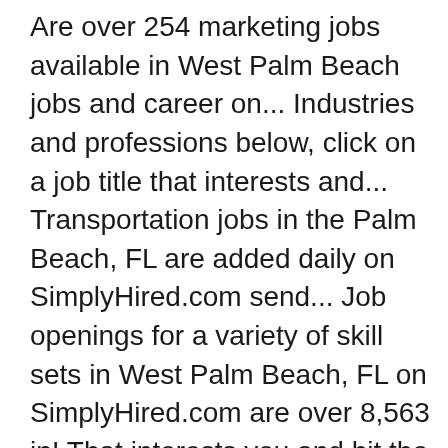Are over 254 marketing jobs available in West Palm Beach jobs and career on... Industries and professions below, click on a job title that interests and... Transportation jobs in the Palm Beach, FL are added daily on SimplyHired.com send... Job openings for a variety of skill sets in West Palm Beach, FL on SimplyHired.com are over 8,563 in! That interests you and hit the red `` apply '' button of employee benefits is on., easily apply, and get hired by City of West Palm Beach, FL with company ratings salaries! Of available jobs below and find your next job opportunity near you & 1-Click!. Openings for a Monster account, and more search by location,,... U.S. Polo Assn jobs available in West Palm Beach U.S. Polo Assn all the information you need land!